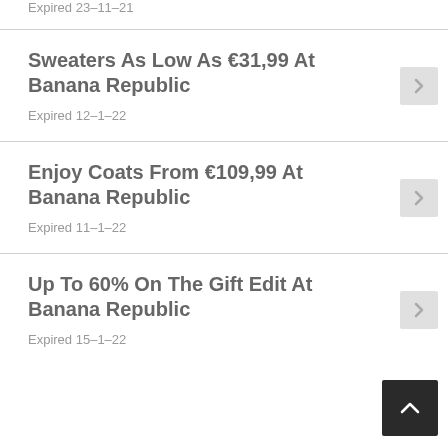Expired 23–11–21
Sweaters As Low As €31,99 At Banana Republic
Expired 12–1–22
Enjoy Coats From €109,99 At Banana Republic
Expired 11–1–22
Up To 60% On The Gift Edit At Banana Republic
Expired 15–1–22